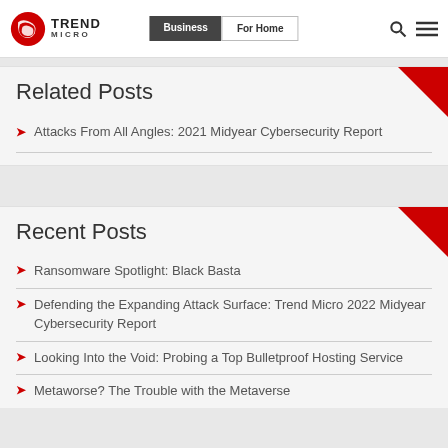Trend Micro | Business | For Home
Related Posts
Attacks From All Angles: 2021 Midyear Cybersecurity Report
Recent Posts
Ransomware Spotlight: Black Basta
Defending the Expanding Attack Surface: Trend Micro 2022 Midyear Cybersecurity Report
Looking Into the Void: Probing a Top Bulletproof Hosting Service
Metaworse? The Trouble with the Metaverse